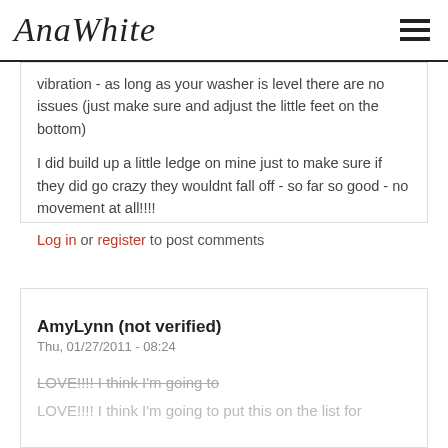AnaWhite
vibration - as long as your washer is level there are no issues (just make sure and adjust the little feet on the bottom)

I did build up a little ledge on mine just to make sure if they did go crazy they wouldnt fall off - so far so good - no movement at all!!!!
Log in or register to post comments
AmyLynn (not verified)
Thu, 01/27/2011 - 08:24
LOVE!!!! I think I'm going to
LOVE!!!! I think I'm going to put this on the list for